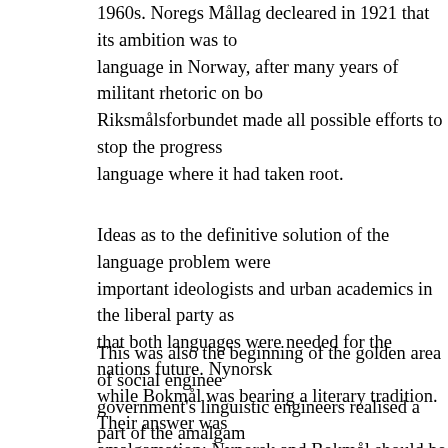1960s. Noregs Mållag decleared in 1921 that its ambition was to language in Norway, after many years of militant rhetoric on bo Riksmålsforbundet made all possible efforts to stop the progress language where it had taken root.
Ideas as to the definitive solution of the language problem were important ideologists and urban academics in the liberal party a that both languages were needed for the nations future. Nynors while Bokmål was bearing a literary tradition. Their answer was amalgamation: Nynorsk and Bokmål should be amalgamated in Norwegian'. In the golden area of Norwegian nation building th and integration were stressed.
This was also the beginning of the golden area of social enginee government's linguistic engineers realised a part of the amalgam orthographic reforms in 1917 and 1938. Between 1917 and 193 traditional varieties. The 1917 orthography made the speakers o groups more familiar with Nynorsk, and therefore the dominant supported the reform.